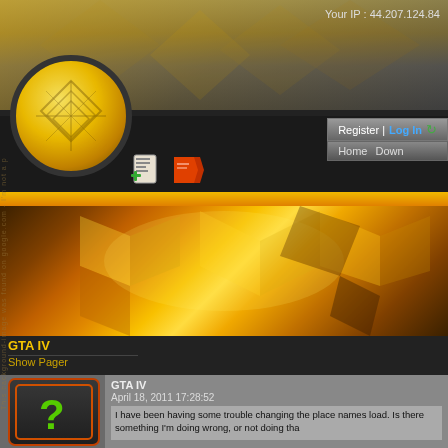Your IP : 44.207.124.84
Register | Log In  Home  Down
[Figure (logo): Yellow/gold circular logo with diamond cross pattern, dark border]
[Figure (infographic): News/document icon with green plus sign and red book/folder icon]
[Figure (photo): Golden/amber abstract geometric hero banner with glowing cubes]
GTA IV
Show Pager
GTA IV
April 18, 2011 17:28:52
[Figure (illustration): Question mark icon in green on dark background with orange border]
I have been having some trouble changing the place names load. Is there something I'm doing wrong, or not doing tha